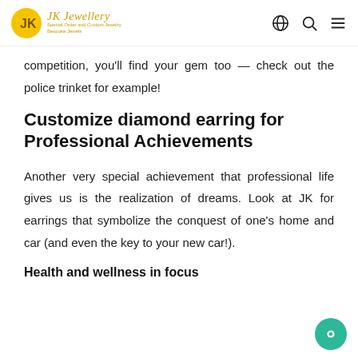JK Jewellery — Special Order and Custom Jewelry
competition, you'll find your gem too — check out the police trinket for example!
Customize diamond earring for Professional Achievements
Another very special achievement that professional life gives us is the realization of dreams. Look at JK for earrings that symbolize the conquest of one's home and car (and even the key to your new car!).
Health and wellness in focus